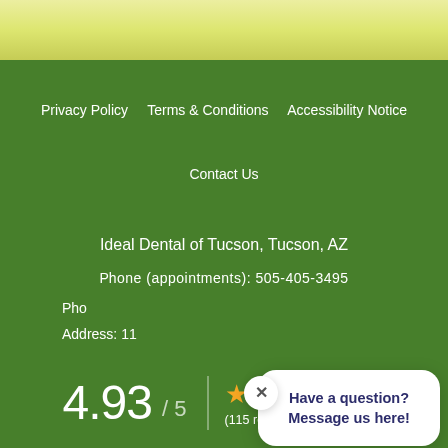[Figure (screenshot): Top banner with yellow-green gradient background]
Privacy Policy   Terms & Conditions   Accessibility Notice
Contact Us
Ideal Dental of Tucson, Tucson, AZ
Phone (appointments): 505-405-3495
Pho...
Address: 11...
[Figure (screenshot): Chat popup overlay with close button (X) and text 'Have a question? Message us here!']
4.93 / 5  ★★★★★  (115 reviews)